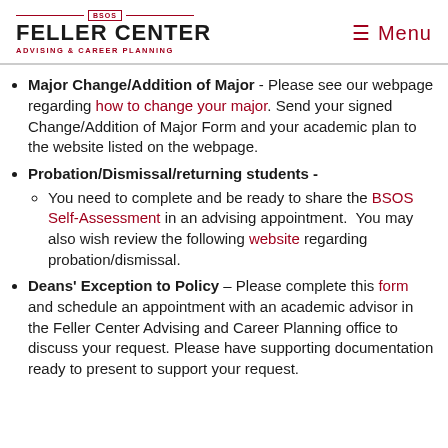BSOS FELLER CENTER ADVISING & CAREER PLANNING | Menu
Major Change/Addition of Major - Please see our webpage regarding how to change your major. Send your signed Change/Addition of Major Form and your academic plan to the website listed on the webpage.
Probation/Dismissal/returning students -
You need to complete and be ready to share the BSOS Self-Assessment in an advising appointment. You may also wish review the following website regarding probation/dismissal.
Deans' Exception to Policy – Please complete this form and schedule an appointment with an academic advisor in the Feller Center Advising and Career Planning office to discuss your request. Please have supporting documentation ready to present to support your request.